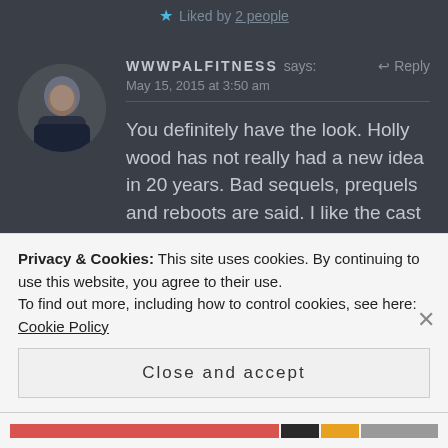★ Liked by 2 people
WWWPALFITNESS says: ↩ Reply
May 15, 2015 at 3:50 am
You definitely have the look. Holly wood has not really had a new idea in 20 years. Bad sequels, prequels and reboots are said. I like the cast in this and it was a bad original so it should surpass the original
Privacy & Cookies: This site uses cookies. By continuing to use this website, you agree to their use.
To find out more, including how to control cookies, see here: Cookie Policy
Close and accept